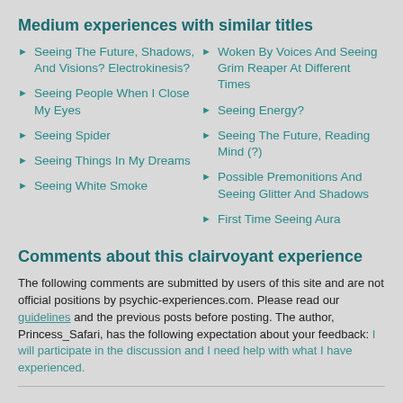Medium experiences with similar titles
Seeing The Future, Shadows, And Visions? Electrokinesis?
Woken By Voices And Seeing Grim Reaper At Different Times
Seeing People When I Close My Eyes
Seeing Energy?
Seeing Spider
Seeing The Future, Reading Mind (?)
Seeing Things In My Dreams
Possible Premonitions And Seeing Glitter And Shadows
Seeing White Smoke
First Time Seeing Aura
Comments about this clairvoyant experience
The following comments are submitted by users of this site and are not official positions by psychic-experiences.com. Please read our guidelines and the previous posts before posting. The author, Princess_Safari, has the following expectation about your feedback: I will participate in the discussion and I need help with what I have experienced.